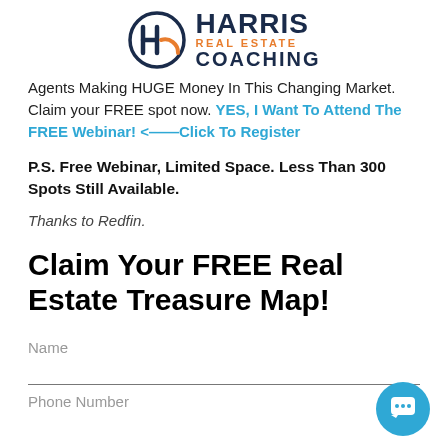[Figure (logo): Harris Real Estate Coaching logo with circular H icon and text]
Agents Making HUGE Money In This Changing Market. Claim your FREE spot now. YES, I Want To Attend The FREE Webinar! <——Click To Register
P.S. Free Webinar, Limited Space. Less Than 300 Spots Still Available.
Thanks to Redfin.
Claim Your FREE Real Estate Treasure Map!
Name
Phone Number